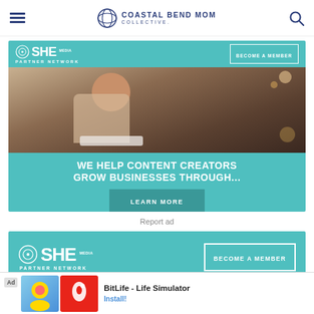Coastal Bend Mom Collective
[Figure (infographic): SHE Media Partner Network advertisement banner. Teal background with 'BECOME A MEMBER' button, photo of smiling woman with glasses using a laptop, headline 'WE HELP CONTENT CREATORS GROW BUSINESSES THROUGH...' and 'LEARN MORE' button.]
Report ad
[Figure (infographic): SHE Media Partner Network second advertisement banner. Teal background with SHE Media logo and 'BECOME A MEMBER' button.]
[Figure (infographic): Bottom mobile ad for BitLife - Life Simulator app with Install button.]